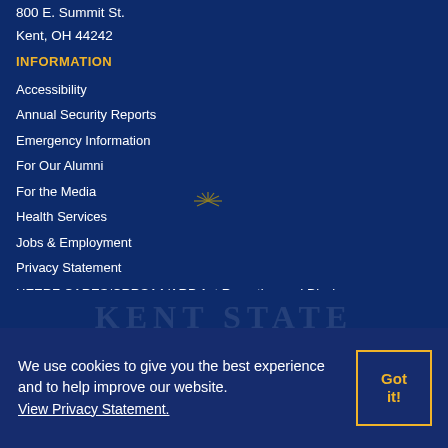800 E. Summit St.
Kent, OH 44242
INFORMATION
Accessibility
Annual Security Reports
Emergency Information
For Our Alumni
For the Media
Health Services
Jobs & Employment
Privacy Statement
HEERF CARES/CRRSAA/ARP Act Reporting and Disclosure
Website Feedback
[Figure (logo): Kent State University sunburst logo watermark with text KENT STATE]
We use cookies to give you the best experience and to help improve our website. View Privacy Statement.